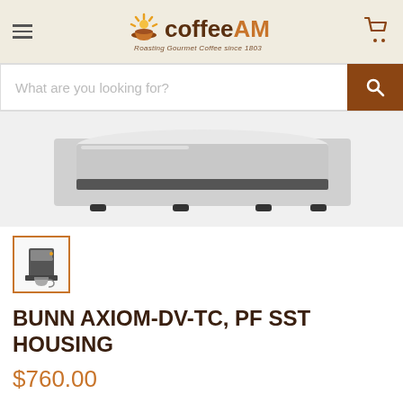coffeeAM — Roasting Gourmet Coffee since 1803
[Figure (screenshot): Search bar with placeholder text 'What are you looking for?' and a brown search button with magnifying glass icon]
[Figure (photo): Close-up of a stainless steel coffee maker base/housing — the bottom/warmer plate portion of a Bunn Axiom-DV-TC coffee brewer]
[Figure (photo): Small thumbnail image of the full Bunn Axiom-DV-TC coffee maker with carafe, shown in a square frame with orange border]
BUNN AXIOM-DV-TC, PF SST HOUSING
$760.00
SKU 387000011
UPC 072504081465